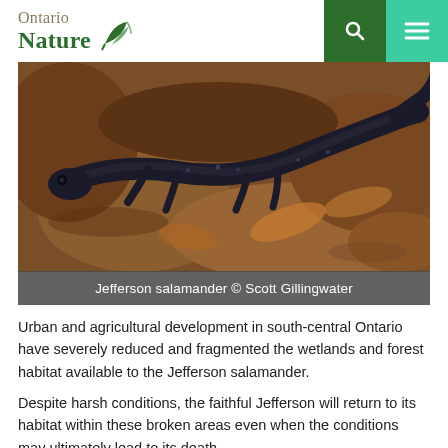Ontario Nature
[Figure (photo): A Jefferson salamander photographed by Scott Gillingwater, shown on wet rocks and leaf litter. The salamander is dark grey/black with a long tail.]
Jefferson salamander © Scott Gillingwater
Urban and agricultural development in south-central Ontario have severely reduced and fragmented the wetlands and forest habitat available to the Jefferson salamander.
Despite harsh conditions, the faithful Jefferson will return to its habitat within these broken areas even when the conditions may ultimately lead to its death.